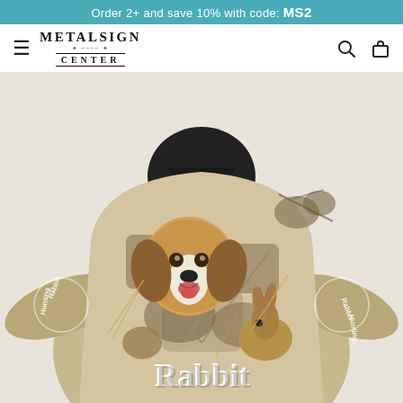Order 2+ and save 10% with code: MS2
[Figure (logo): MetalSign Center logo with decorative serif font and ornamental lines]
[Figure (photo): E-commerce product page showing a hunting-themed all-over-print hoodie featuring a beagle dog, rabbit, and camouflage nature pattern with the word 'Rabbit' printed on the bottom. The sleeves read 'Rabbit Hunting' in circular text. Black hood interior visible at top.]